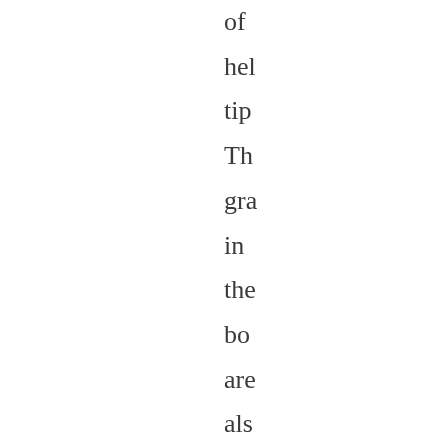of hel tip Th gra in the bo are als ver we dor ma it ext eas to fol